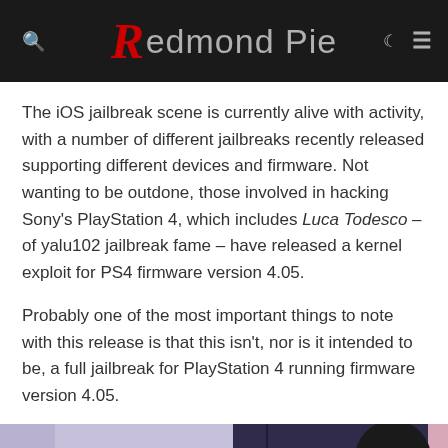Redmond Pie
The iOS jailbreak scene is currently alive with activity, with a number of different jailbreaks recently released supporting different devices and firmware. Not wanting to be outdone, those involved in hacking Sony's PlayStation 4, which includes Luca Todesco – of yalu102 jailbreak fame – have released a kernel exploit for PS4 firmware version 4.05.
Probably one of the most important things to note with this release is that this isn't, nor is it intended to be, a full jailbreak for PlayStation 4 running firmware version 4.05.
[Figure (photo): PlayStation 4 console shown against a purple/lavender and pink gradient background with a dark circle overlay in upper right]